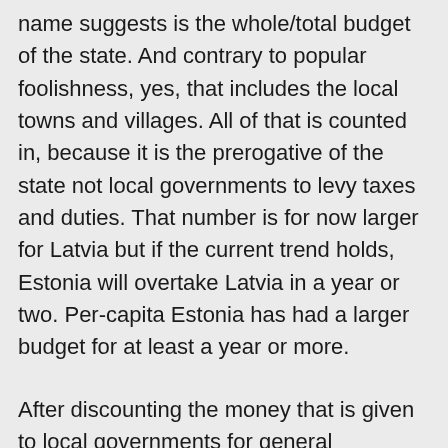name suggests is the whole/total budget of the state. And contrary to popular foolishness, yes, that includes the local towns and villages. All of that is counted in, because it is the prerogative of the state not local governments to levy taxes and duties. That number is for now larger for Latvia but if the current trend holds, Estonia will overtake Latvia in a year or two. Per-capita Estonia has had a larger budget for at least a year or more.
After discounting the money that is given to local governments for general squandering (not even going to discuss this; deal with it, fools), what remains for financing things useful for the general populace and not just